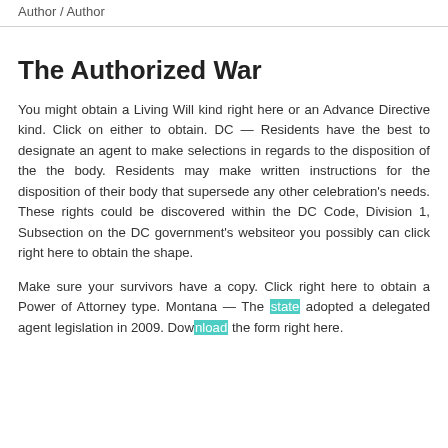Author / Author
The Authorized War
You might obtain a Living Will kind right here or an Advance Directive kind. Click on either to obtain. DC — Residents have the best to designate an agent to make selections in regards to the disposition of the the body. Residents may make written instructions for the disposition of their body that supersede any other celebration's needs. These rights could be discovered within the DC Code, Division 1, Subsection on the DC government's websiteor you possibly can click right here to obtain the shape.
Make sure your survivors have a copy. Click right here to obtain a Power of Attorney type. Montana — The state adopted a delegated agent legislation in 2009. Download the form right here.